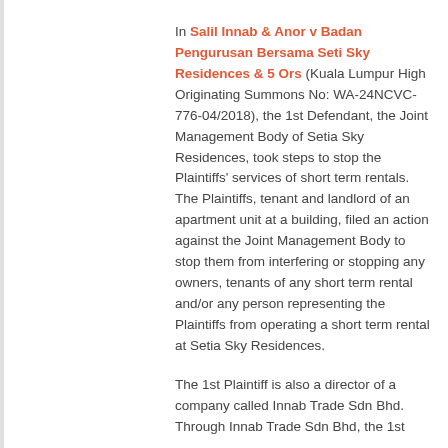In Salil Innab & Anor v Badan Pengurusan Bersama Seti Sky Residences & 5 Ors (Kuala Lumpur High Originating Summons No: WA-24NCVC-776-04/2018), the 1st Defendant, the Joint Management Body of Setia Sky Residences, took steps to stop the Plaintiffs' services of short term rentals. The Plaintiffs, tenant and landlord of an apartment unit at a building, filed an action against the Joint Management Body to stop them from interfering or stopping any owners, tenants of any short term rental and/or any person representing the Plaintiffs from operating a short term rental at Setia Sky Residences.
The 1st Plaintiff is also a director of a company called Innab Trade Sdn Bhd. Through Innab Trade Sdn Bhd, the 1st